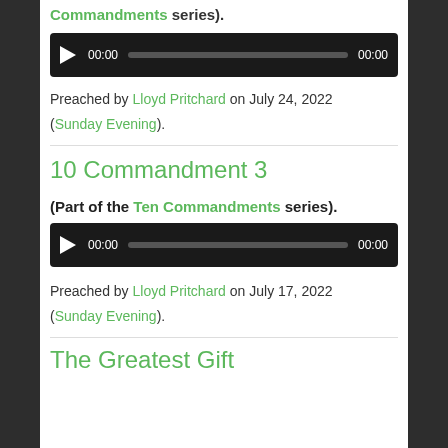Commandments series).
[Figure (other): Audio player widget showing 00:00 and 00:00 with play button and progress bar]
Preached by Lloyd Pritchard on July 24, 2022 (Sunday Evening).
10 Commandment 3
(Part of the Ten Commandments series).
[Figure (other): Audio player widget showing 00:00 and 00:00 with play button and progress bar]
Preached by Lloyd Pritchard on July 17, 2022 (Sunday Evening).
The Greatest Gift